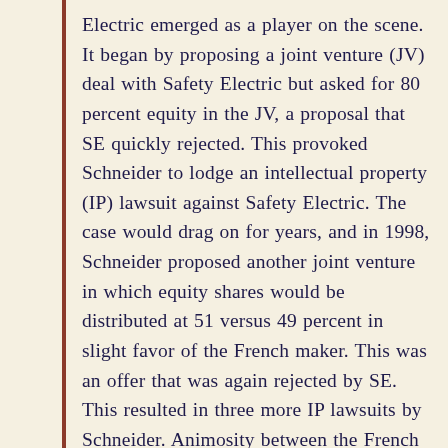Electric emerged as a player on the scene. It began by proposing a joint venture (JV) deal with Safety Electric but asked for 80 percent equity in the JV, a proposal that SE quickly rejected. This provoked Schneider to lodge an intellectual property (IP) lawsuit against Safety Electric. The case would drag on for years, and in 1998, Schneider proposed another joint venture in which equity shares would be distributed at 51 versus 49 percent in slight favor of the French maker. This was an offer that was again rejected by SE. This resulted in three more IP lawsuits by Schneider. Animosity between the French and Chinese rivals became intense.